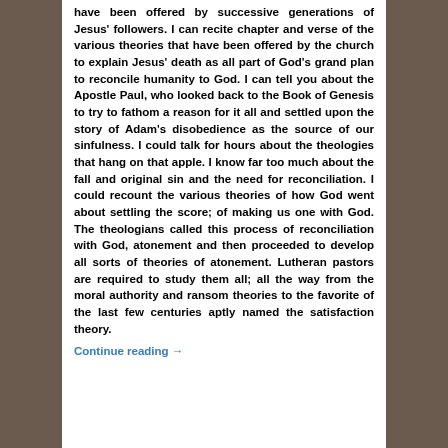have been offered by successive generations of Jesus' followers. I can recite chapter and verse of the various theories that have been offered by the church to explain Jesus' death as all part of God's grand plan to reconcile humanity to God. I can tell you about the Apostle Paul, who looked back to the Book of Genesis to try to fathom a reason for it all and settled upon the story of Adam's disobedience as the source of our sinfulness. I could talk for hours about the theologies that hang on that apple. I know far too much about the fall and original sin and the need for reconciliation. I could recount the various theories of how God went about settling the score; of making us one with God. The theologians called this process of reconciliation with God, atonement and then proceeded to develop all sorts of theories of atonement. Lutheran pastors are required to study them all; all the way from the moral authority and ransom theories to the favorite of the last few centuries aptly named the satisfaction theory.
Continue reading →